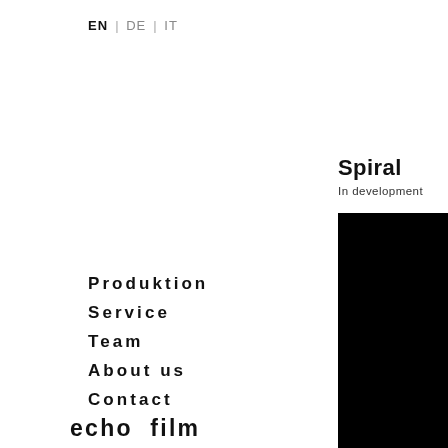EN | DE | IT
Spiral
In development
[Figure (photo): Dark/black photographic image panel on right side of page]
Produktion
Service
Team
About us
Contact
echofilm